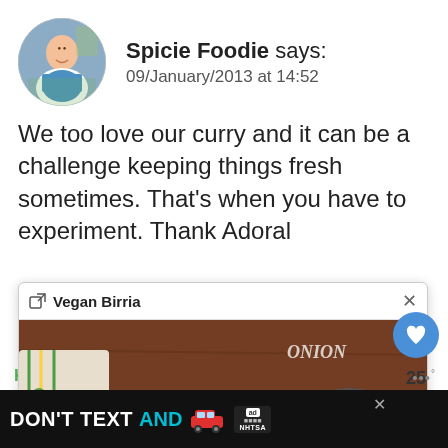[Figure (photo): Round avatar photo of Spicie Foodie blogger, a woman in white embroidered top in a kitchen setting]
Spicie Foodie says:
09/January/2013 at 14:52
We too love our curry and it can be a challenge keeping things fresh sometimes. That's when you have to experiment. Thank Adoral
[Figure (screenshot): Popup overlay titled 'Vegan Birria' showing a photo of a hand holding bread over a pan with broth, with shredded mushrooms in a bowl to the right, on a wooden table with a colorful cloth]
[Figure (photo): Small circular thumbnail of a food dish (reddish curry/stew)]
Kitchen   Ramona says:
[Figure (other): DON'T TEXT AND [car emoji] advertisement banner with NHTSA logo]